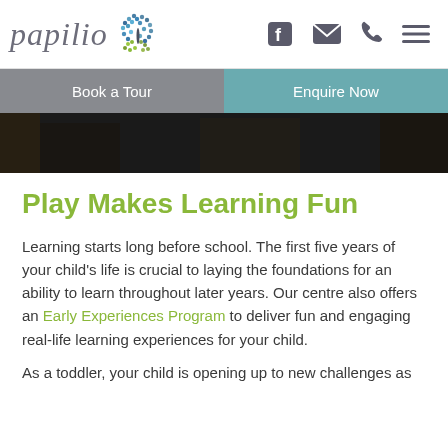[Figure (logo): Papilio early learning logo with butterfly made of colored dots, grey italic text reading 'papilio']
[Figure (infographic): Navigation icons: Facebook icon, envelope/email icon, phone icon, hamburger menu icon]
Book a Tour
Enquire Now
[Figure (photo): Dark hero image strip showing partial indoor scene]
Play Makes Learning Fun
Learning starts long before school. The first five years of your child's life is crucial to laying the foundations for an ability to learn throughout later years. Our centre also offers an Early Experiences Program to deliver fun and engaging real-life learning experiences for your child.
As a toddler, your child is opening up to new challenges as